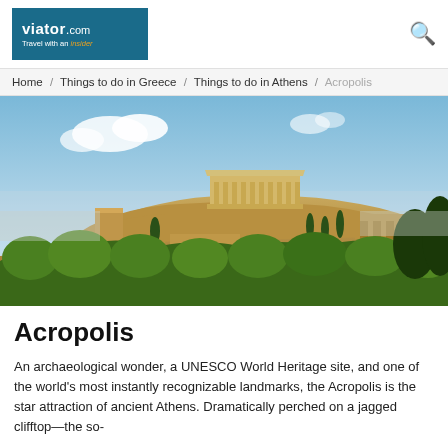viator.com — Travel with an insider
Home / Things to do in Greece / Things to do in Athens / Acropolis
[Figure (photo): Aerial/panoramic photograph of the Acropolis of Athens perched on a rocky hilltop, with the Parthenon visible, surrounded by lush green trees and the city of Athens in the background under a partly cloudy blue sky.]
Acropolis
An archaeological wonder, a UNESCO World Heritage site, and one of the world's most instantly recognizable landmarks, the Acropolis is the star attraction of ancient Athens. Dramatically perched on a jagged clifftop—the so-